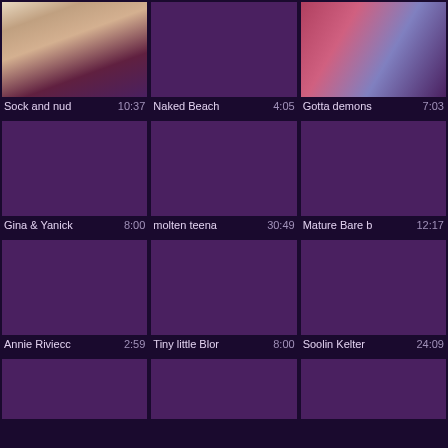[Figure (screenshot): Video thumbnail grid showing 9 video entries with titles and durations]
Sock and nud 10:37
Naked Beach 4:05
Gotta demons 7:03
Gina & Yanick 8:00
molten teena 30:49
Mature Bare b 12:17
Annie Riviecc 2:59
Tiny little Blor 8:00
Soolin Kelter 24:09